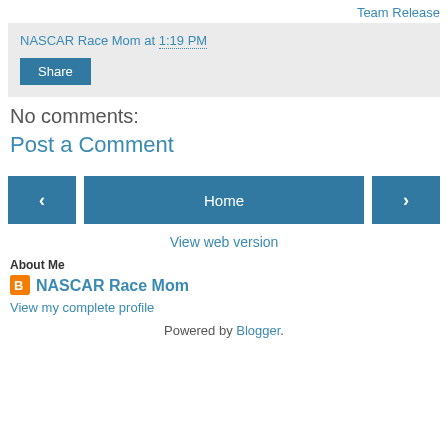Team Release
NASCAR Race Mom at 1:19 PM
Share
No comments:
Post a Comment
‹ Home ›
View web version
About Me
NASCAR Race Mom
View my complete profile
Powered by Blogger.